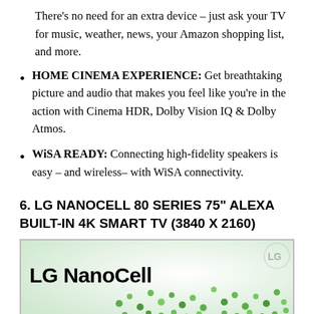There's no need for an extra device – just ask your TV for music, weather, news, your Amazon shopping list, and more.
HOME CINEMA EXPERIENCE: Get breathtaking picture and audio that makes you feel like you're in the action with Cinema HDR, Dolby Vision IQ & Dolby Atmos.
WiSA READY: Connecting high-fidelity speakers is easy – and wireless– with WiSA connectivity.
6. LG NANOCELL 80 SERIES 75" ALEXA BUILT-IN 4K SMART TV (3840 X 2160)
[Figure (photo): LG NanoCell TV product image showing the LG NanoCell branding on a display with green nano particles/beads in the background]